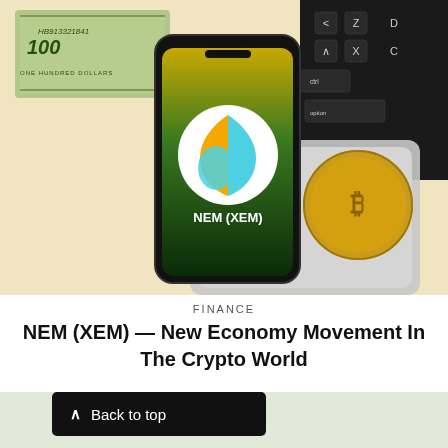[Figure (photo): Smartphone displaying NEM (XEM) cryptocurrency logo (shield shape with gold, teal and blue sections) on a green gradient screen, placed on a laptop trackpad, surrounded by US dollar bills and a gold Bitcoin coin, on a light cream background.]
FINANCE
NEM (XEM) — New Economy Movement In The Crypto World
[Figure (photo): Partial view of a second article image showing a green glossy sphere/globe on a light background, partially visible at the bottom right of the page.]